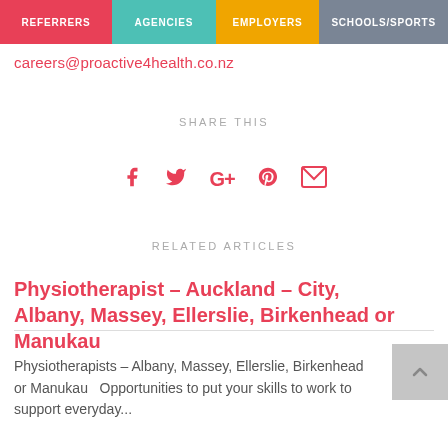REFERRERS | AGENCIES | EMPLOYERS | SCHOOLS/SPORTS
careers@proactive4health.co.nz
SHARE THIS
[Figure (infographic): Social share icons: Facebook (f), Twitter (bird), Google+ (G+), Pinterest (pin), Email (envelope) in red/crimson color]
RELATED ARTICLES
Physiotherapist – Auckland – City, Albany, Massey, Ellerslie, Birkenhead or Manukau
Physiotherapists – Albany, Massey, Ellerslie, Birkenhead or Manukau   Opportunities to put your skills to work to support everyday...